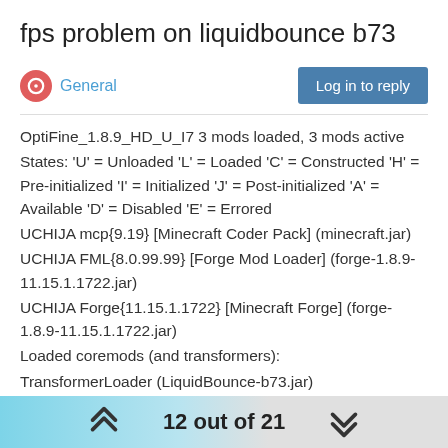fps problem on liquidbounce b73
General
OptiFine_1.8.9_HD_U_I7 3 mods loaded, 3 mods active
States: 'U' = Unloaded 'L' = Loaded 'C' = Constructed 'H' = Pre-initialized 'I' = Initialized 'J' = Post-initialized 'A' = Available 'D' = Disabled 'E' = Errored
UCHIJA mcp{9.19} [Minecraft Coder Pack] (minecraft.jar)
UCHIJA FML{8.0.99.99} [Forge Mod Loader] (forge-1.8.9-11.15.1.1722.jar)
UCHIJA Forge{11.15.1.1722} [Minecraft Forge] (forge-1.8.9-11.15.1.1722.jar)
Loaded coremods (and transformers):
TransformerLoader (LiquidBounce-b73.jar)
net.ccbluex.liquidbounce.injection.transformers.ForgeNetworkTransformer
net.ccbluex.liquidbounce.script.remapper.injection.transformers.AbstractJavaLinkerTransformer
GL info: ' Vendor: 'Intel' Version: '4.6.0 - Build 26.20.100.7263'
12 out of 21